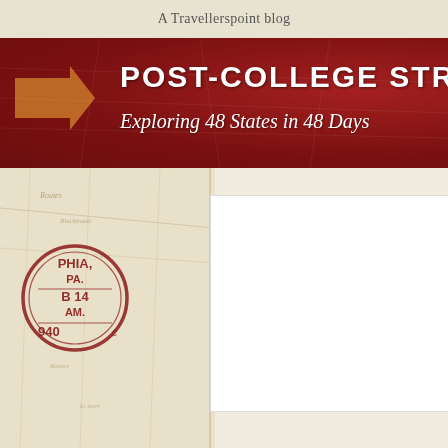A Travellerspoint blog
POST-COLLEGE STRESS DIS
Exploring 48 States in 48 Days
[Figure (illustration): Travel blog header image with dark red banner, directional arrow, vintage map background with text, Philadelphia postal stamp dated 1940 AM, and white content area]